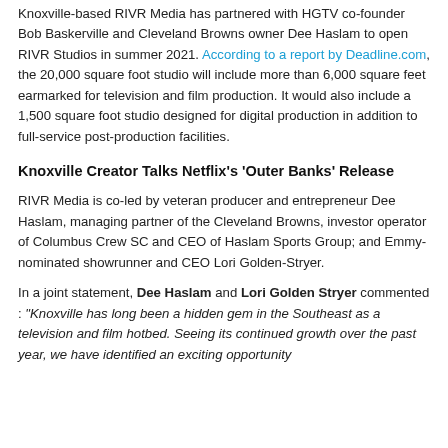Knoxville-based RIVR Media has partnered with HGTV co-founder Bob Baskerville and Cleveland Browns owner Dee Haslam to open RIVR Studios in summer 2021. According to a report by Deadline.com, the 20,000 square foot studio will include more than 6,000 square feet earmarked for television and film production. It would also include a 1,500 square foot studio designed for digital production in addition to full-service post-production facilities.
Knoxville Creator Talks Netflix's 'Outer Banks' Release
RIVR Media is co-led by veteran producer and entrepreneur Dee Haslam, managing partner of the Cleveland Browns, investor operator of Columbus Crew SC and CEO of Haslam Sports Group; and Emmy-nominated showrunner and CEO Lori Golden-Stryer.
In a joint statement, Dee Haslam and Lori Golden Stryer commented : "Knoxville has long been a hidden gem in the Southeast as a television and film hotbed. Seeing its continued growth over the past year, we have identified an exciting opportunity